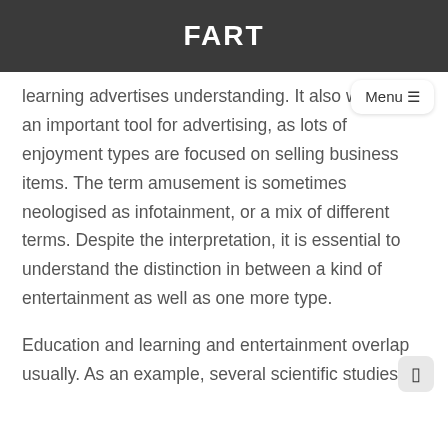FART
learning advertises understanding. It also works as an important tool for advertising, as lots of enjoyment types are focused on selling business items. The term amusement is sometimes neologised as infotainment, or a mix of different terms. Despite the interpretation, it is essential to understand the distinction in between a kind of entertainment as well as one more type.
Education and learning and entertainment overlap usually. As an example, several scientific studies